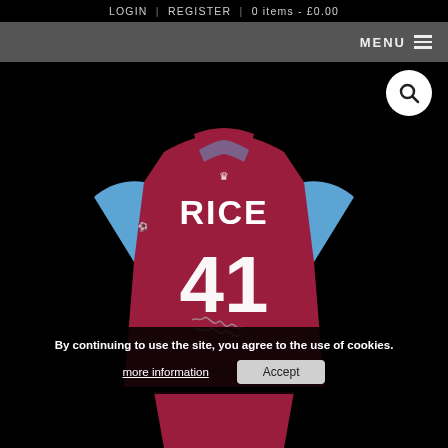LOGIN | REGISTER | 0 items - £0.00
MENU
[Figure (photo): Back of a West Ham United football shirt with name RICE and number 41, signed, photographed against a black background]
By continuing to use the site, you agree to the use of cookies.
more information
Accept